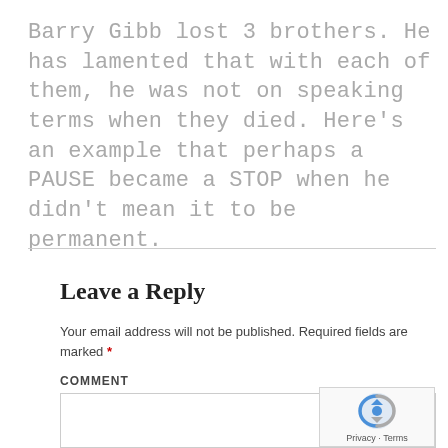Barry Gibb lost 3 brothers. He has lamented that with each of them, he was not on speaking terms when they died. Here's an example that perhaps a PAUSE became a STOP when he didn't mean it to be permanent.
Leave a Reply
Your email address will not be published. Required fields are marked *
COMMENT